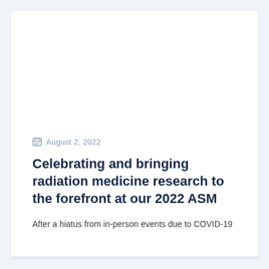August 2, 2022
Celebrating and bringing radiation medicine research to the forefront at our 2022 ASM
After a hiatus from in-person events due to COVID-19